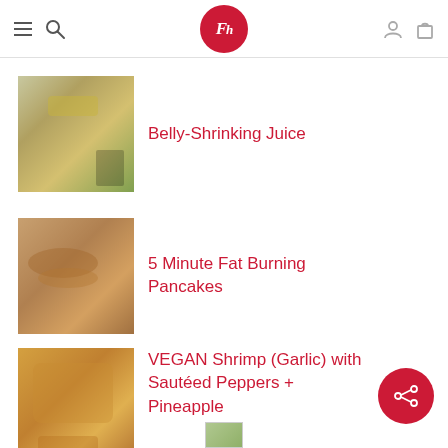Navigation header with menu, search, logo, user and bag icons
[Figure (photo): Thumbnail image of Belly-Shrinking Juice recipe showing vegetables and juice]
Belly-Shrinking Juice
[Figure (photo): Thumbnail image of 5 Minute Fat Burning Pancakes showing stacked pancakes]
5 Minute Fat Burning Pancakes
[Figure (photo): Thumbnail image of VEGAN Shrimp (Garlic) with Sautéed Peppers + Pineapple]
VEGAN Shrimp (Garlic) with Sautéed Peppers + Pineapple
[Figure (photo): Partial thumbnail image at bottom of page]
[Figure (other): Red share button with share icon in bottom right corner]